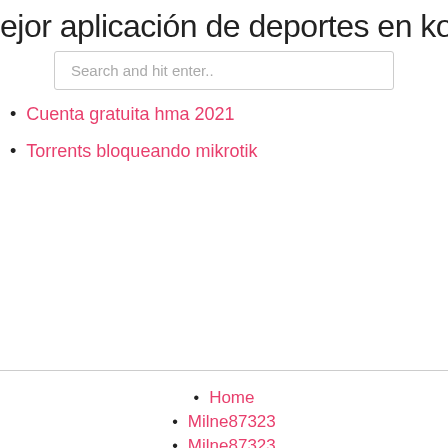ejor aplicación de deportes en kodi 2…
Search and hit enter..
Cuenta gratuita hma 2021
Torrents bloqueando mikrotik
Home
Milne87323
Milne87323